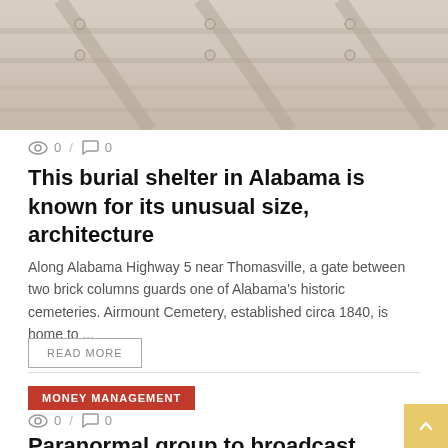[Figure (photo): Wooden ceiling or roof structure with beams, faded grayish-brown tones]
👁 0 / 💬 0
This burial shelter in Alabama is known for its unusual size, architecture
Along Alabama Highway 5 near Thomasville, a gate between two brick columns guards one of Alabama's historic cemeteries. Airmount Cemetery, established circa 1840, is home to ...
READ MORE
MONEY MANAGEMENT
👁 0 / 💬 0
Paranormal group to broadcast live on Halloween as they hunt ghosts at Allegan County Jail